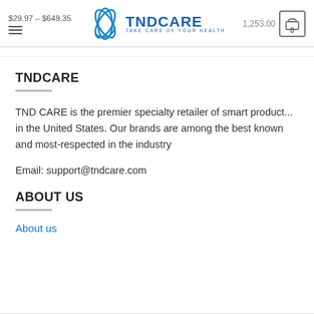$29.97 – $649.35   TNDCARE TAKE CARE OF YOUR HEALTH   1,253.00   0
TNDCARE
TND CARE is the premier specialty retailer of smart product... in the United States. Our brands are among the best known and most-respected in the industry
Email: support@tndcare.com
ABOUT US
About us